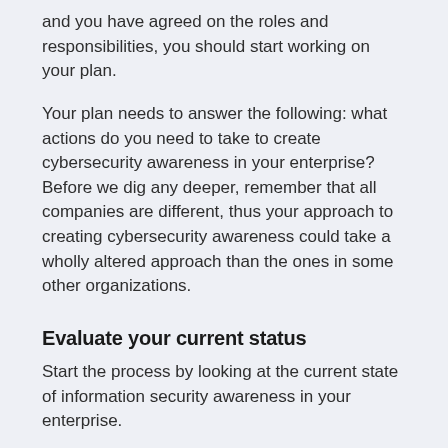and you have agreed on the roles and responsibilities, you should start working on your plan.
Your plan needs to answer the following: what actions do you need to take to create cybersecurity awareness in your enterprise? Before we dig any deeper, remember that all companies are different, thus your approach to creating cybersecurity awareness could take a wholly altered approach than the ones in some other organizations.
Evaluate your current status
Start the process by looking at the current state of information security awareness in your enterprise.
What is the current security awareness situation in your organization?